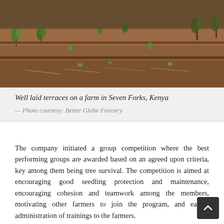[Figure (photo): Terraced farm rows with young seedlings in red-brown soil in Seven Forks, Kenya. Green plants visible in terraced rows on a dry landscape.]
Well laid terraces on a farm in Seven Forks, Kenya
— Photo courtesy: Better Globe Forestry
The company initiated a group competition where the best performing groups are awarded based on an agreed upon criteria, key among them being tree survival. The competition is aimed at encouraging good seedling protection and maintenance, encouraging cohesion and teamwork among the members, motivating other farmers to join the program, and easing administration of trainings to the farmers.
The exercise of group formation involves a lot of training and monitoring from our agroforestry agents, farmer group formation officers, and site managers. A farmer group coordination manager based at the head office in Nairobi